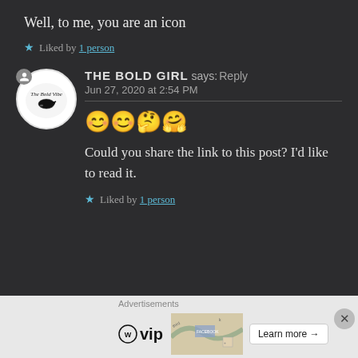Well, to me, you are an icon
★ Liked by 1 person
THE BOLD GIRL says: Reply
Jun 27, 2020 at 2:54 PM
😊😊🤔🤗
Could you share the link to this post? I'd like to read it.
★ Liked by 1 person
Advertisements